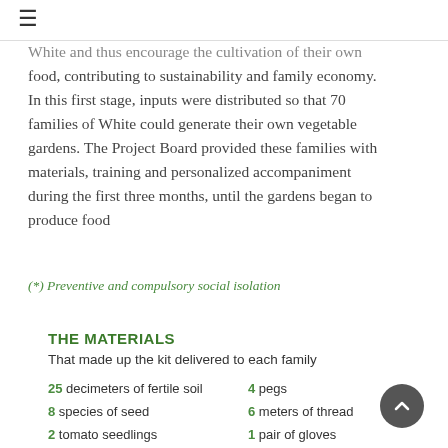≡
White and thus encourage the cultivation of their own food, contributing to sustainability and family economy. In this first stage, inputs were distributed so that 70 families of White could generate their own vegetable gardens. The Project Board provided these families with materials, training and personalized accompaniment during the first three months, until the gardens began to produce food
(*) Preventive and compulsory social isolation
THE MATERIALS
That made up the kit delivered to each family
25 decimeters of fertile soil
8 species of seed
2 tomato seedlings
7 printed files
4 pegs
6 meters of thread
1 pair of gloves
6 identifiers